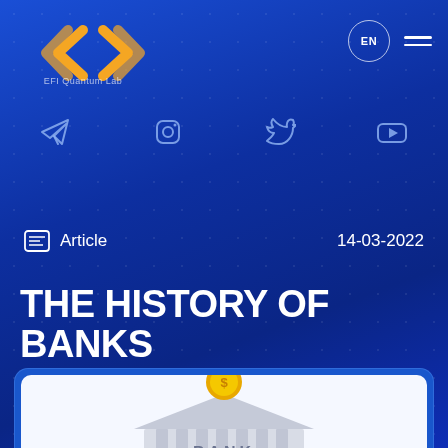[Figure (logo): EFI Quantum Lab logo — orange double arrow bracket symbol with text below]
EN
[Figure (infographic): Social media icons row: Telegram, Instagram, Twitter, YouTube in blue tones]
Article   14-03-2022
THE HISTORY OF BANKS
[Figure (illustration): 3D illustration of a bank building (classical columns, BANK label, coin slot on roof) with a gold dollar coin dropping into it, on white background inside a rounded card]